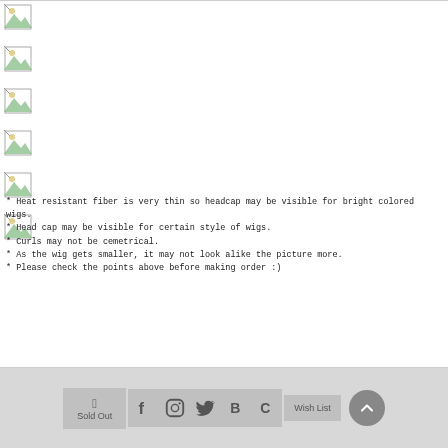[Figure (illustration): Six broken/missing image icons stacked vertically on the left side of the page]
* Heat resistant fiber is very thin so headcap may be visible for bright colored wigs.
* Head cap may be visible for certain style of wigs.
* Curls may not be cemetrical.
* As the wig gets smaller, it may not look alike the picture more.
* Please check the points above before making order :)
Sold Out | [social icons: Facebook, Instagram, Twitter, B, C] | Wish List | Up button